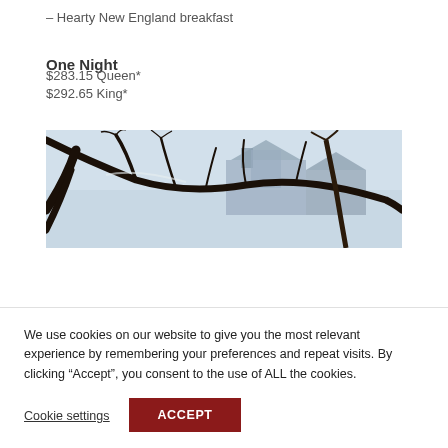– Hearty New England breakfast
One Night
$283.15 Queen*
$292.65 King*
[Figure (photo): Winter scene of a historic building or inn viewed through bare snow-covered tree branches against a light sky]
We use cookies on our website to give you the most relevant experience by remembering your preferences and repeat visits. By clicking “Accept”, you consent to the use of ALL the cookies.
Cookie settings
ACCEPT